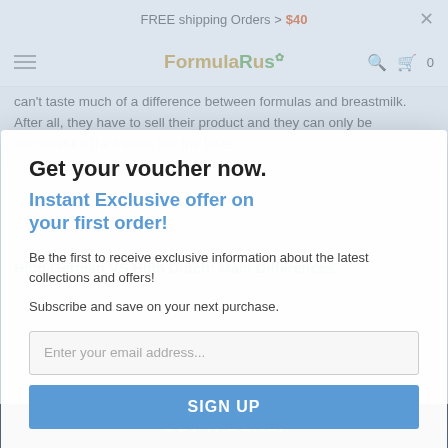FREE shipping Orders > $40
Get your voucher now.
Instant Exclusive offer on your first order!
Be the first to receive exclusive information about the latest collections and offers!
Subscribe and save on your next purchase.
Enter your email address...
SIGN UP
can't taste much of a difference between formulas and breastmilk. After all, they have to sell their product and they can only be successful if the babies like the taste.
Hipp German VS Hipp Dutch: Main Differences
|  | Hipp German | Hipp Dutch |
| --- | --- | --- |
| Starch | Present | Not Present |
| Soy Lecithin | Present in Stage 2 | Not Present |
GET A DEAL!